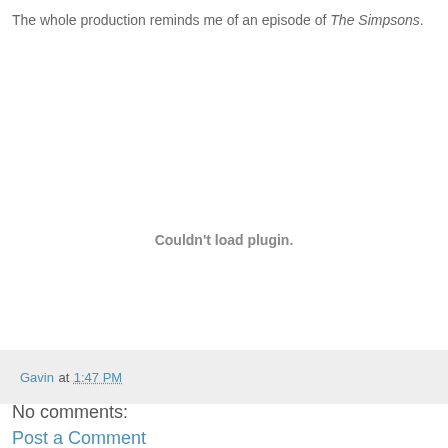The whole production reminds me of an episode of The Simpsons.
[Figure (other): Embedded plugin area showing 'Couldn't load plugin.' message]
Gavin at 1:47 PM
No comments:
Post a Comment